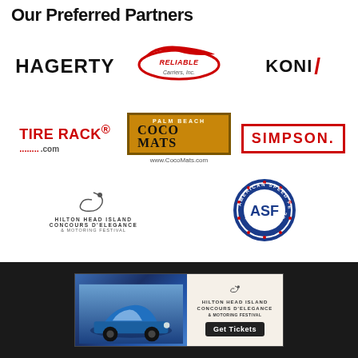Our Preferred Partners
[Figure (logo): HAGERTY logo in bold black text]
[Figure (logo): Reliable Carriers Inc. logo with red swoosh graphic]
[Figure (logo): KONI logo in black with red slash]
[Figure (logo): Tire Rack .com logo in red]
[Figure (logo): Coco Mats logo in orange/brown box with www.CocoMats.com]
[Figure (logo): SIMPSON logo in red outlined box]
[Figure (logo): Hilton Head Island Concours d'Elegance & Motoring Festival logo]
[Figure (logo): American Speed Festival M1 Concourse circular badge logo in blue]
[Figure (infographic): Advertisement banner for Hilton Head Island Concours d'Elegance featuring a blue classic car and Get Tickets button]